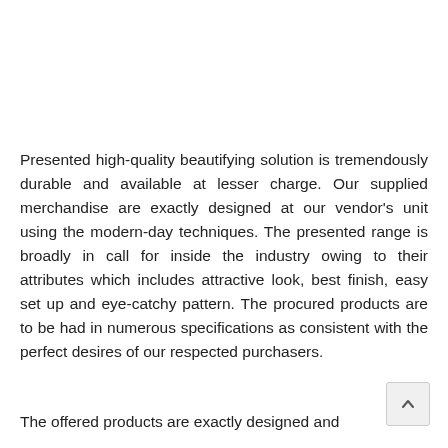Presented high-quality beautifying solution is tremendously durable and available at lesser charge. Our supplied merchandise are exactly designed at our vendor's unit using the modern-day techniques. The presented range is broadly in call for inside the industry owing to their attributes which includes attractive look, best finish, easy set up and eye-catchy pattern. The procured products are to be had in numerous specifications as consistent with the perfect desires of our respected purchasers.
The offered products are exactly designed and